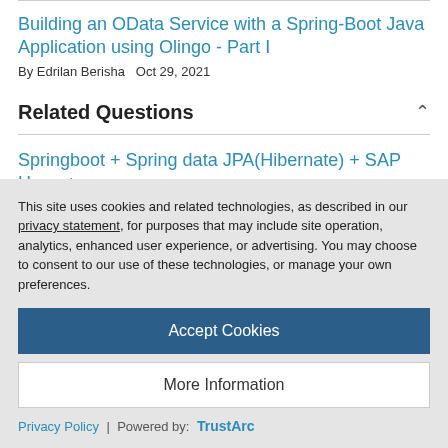Building an OData Service with a Spring-Boot Java Application using Olingo - Part I
By Edrilan Berisha  Oct 29, 2021
Related Questions
Springboot + Spring data JPA(Hibernate) + SAP Hana + Olingo(odata V2)
This site uses cookies and related technologies, as described in our privacy statement, for purposes that may include site operation, analytics, enhanced user experience, or advertising. You may choose to consent to our use of these technologies, or manage your own preferences.
Accept Cookies
More Information
Privacy Policy | Powered by: TrustArc